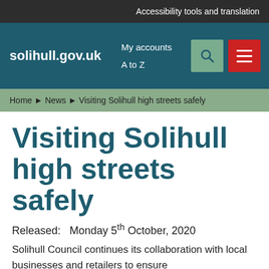Accessibility tools and translation
solihull.gov.uk  My accounts  A to Z
Home ▶ News ▶ Visiting Solihull high streets safely
Visiting Solihull high streets safely
Released:   Monday 5th October, 2020
Solihull Council continues its collaboration with local businesses and retailers to ensure